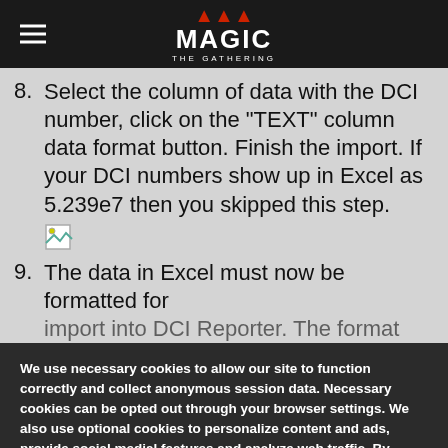Magic: The Gathering
8. Select the column of data with the DCI number, click on the "TEXT" column data format button. Finish the import. If your DCI numbers show up in Excel as 5.239e7 then you skipped this step.
[Figure (illustration): Small document/image icon placeholder]
9. The data in Excel must now be formatted for import into DCI Reporter. The format is...
We use necessary cookies to allow our site to function correctly and collect anonymous session data. Necessary cookies can be opted out through your browser settings. We also use optional cookies to personalize content and ads, provide social medial features and analyze web traffic. By clicking “OK, I agree,” you consent to optional cookies. (Learn more about cookies.)
OK, I agree    No, thanks